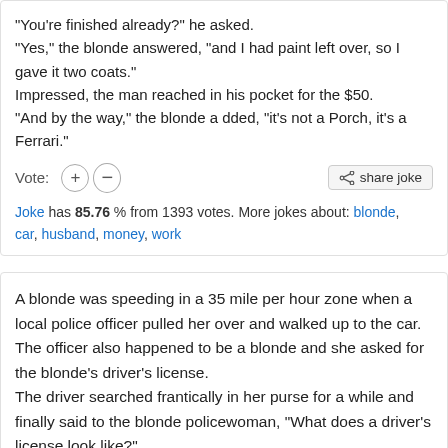"You're finished already?" he asked.
"Yes," the blonde answered, "and I had paint left over, so I gave it two coats."
Impressed, the man reached in his pocket for the $50.
"And by the way," the blonde a dded, "it's not a Porch, it's a Ferrari."
Vote: (+) (-) [share joke]
Joke has 85.76 % from 1393 votes. More jokes about: blonde, car, husband, money, work
A blonde was speeding in a 35 mile per hour zone when a local police officer pulled her over and walked up to the car. The officer also happened to be a blonde and she asked for the blonde's driver's license.
The driver searched frantically in her purse for a while and finally said to the blonde policewoman, "What does a driver's license look like?"
Irritated, the blonde cop said, "You dummy, it's got your picture on it!"
The blonde d...